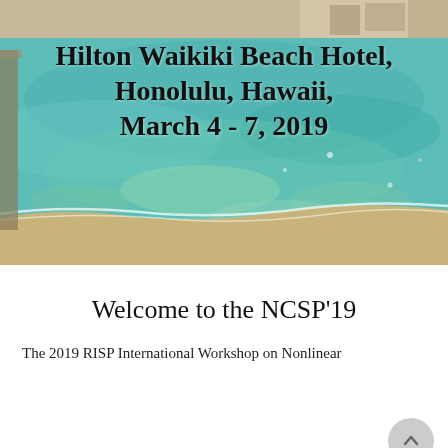[Figure (photo): Aerial photo of Waikiki Beach, Honolulu, Hawaii showing turquoise ocean water, sandy beach, and coastal buildings in the background.]
Hilton Waikiki Beach Hotel, Honolulu, Hawaii, March 4 - 7, 2019
Welcome to the NCSP'19
The 2019 RISP International Workshop on Nonlinear